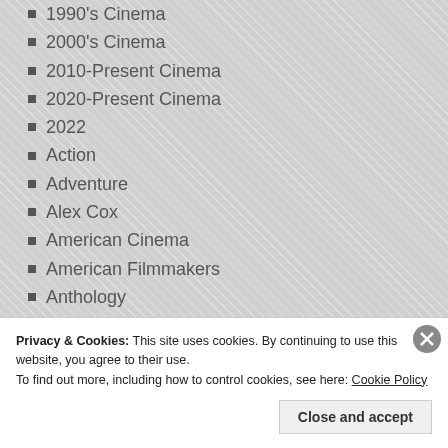1990's Cinema
2000's Cinema
2010-Present Cinema
2020-Present Cinema
2022
Action
Adventure
Alex Cox
American Cinema
American Filmmakers
Anthology
Biography
British Cinema
British Filmmakers
Cable/Television
Privacy & Cookies: This site uses cookies. By continuing to use this website, you agree to their use. To find out more, including how to control cookies, see here: Cookie Policy
Close and accept